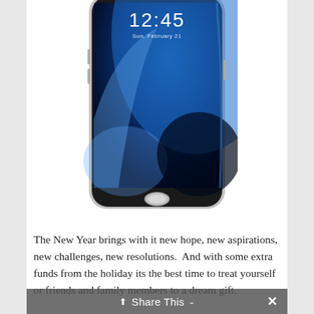[Figure (photo): Samsung Galaxy S7 smartphone shown from the front, displaying lock screen with time 12:45 and date Sun, February 21. Phone has a black body with silver edges, curved display edges, and a home button at the bottom.]
The New Year brings with it new hope, new aspirations, new challenges, new resolutions.  And with some extra funds from the holiday its the best time to treat yourself or friends and family members to a dream gift.
Share This ✕